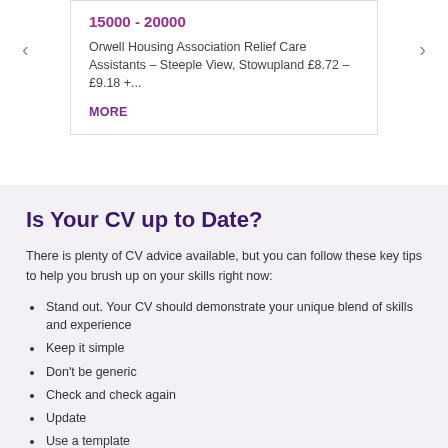15000 - 20000
Orwell Housing Association Relief Care Assistants – Steeple View, Stowupland £8.72 – £9.18 +...
MORE
Is Your CV up to Date?
There is plenty of CV advice available, but you can follow these key tips to help you brush up on your skills right now:
Stand out. Your CV should demonstrate your unique blend of skills and experience
Keep it simple
Don't be generic
Check and check again
Update
Use a template